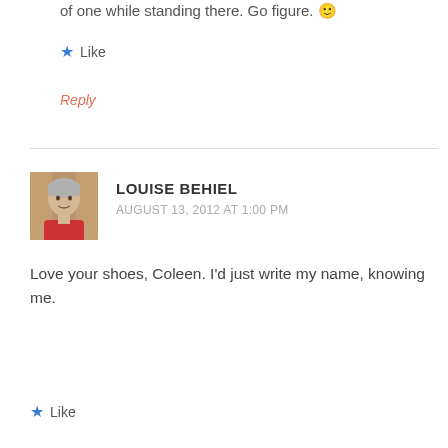of one while standing there. Go figure. 🙂
★ Like
Reply
LOUISE BEHIEL
AUGUST 13, 2012 AT 1:00 PM
Love your shoes, Coleen. I'd just write my name, knowing me.
★ Like
Reply